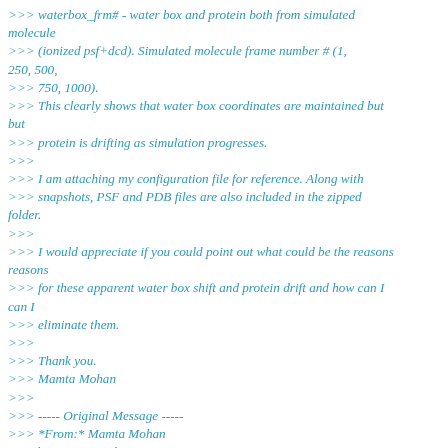>>> waterbox_frm# - water box and protein both from simulated molecule
>>> (ionized psf+dcd). Simulated molecule frame number # (1, 250, 500,
>>> 750, 1000).
>>> This clearly shows that water box coordinates are maintained but
>>> protein is drifting as simulation progresses.
>>>
>>> I am attaching my configuration file for reference. Along with
>>> snapshots, PSF and PDB files are also included in the zipped folder.
>>>
>>> I would appreciate if you could point out what could be the reasons
>>> for these apparent water box shift and protein drift and how can I
>>> eliminate them.
>>>
>>> Thank you.
>>> Mamta Mohan
>>>
>>> ----- Original Message -----
>>> *From:* Mamta Mohan <mailto:mamta_mohan at comcast.net>
>>> *To:*